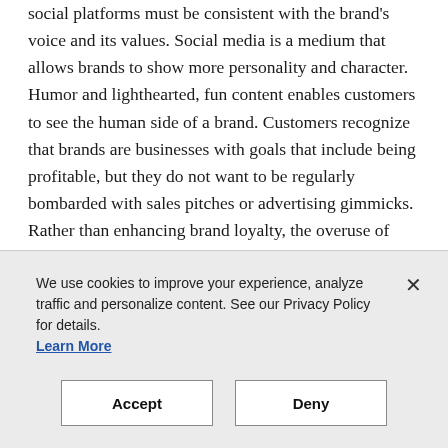social platforms must be consistent with the brand's voice and its values. Social media is a medium that allows brands to show more personality and character. Humor and lighthearted, fun content enables customers to see the human side of a brand. Customers recognize that brands are businesses with goals that include being profitable, but they do not want to be regularly bombarded with sales pitches or advertising gimmicks. Rather than enhancing brand loyalty, the overuse of social media for advertising will drive customers away.

"Social media marketing can be as simple as a pre-scheduled content with a certain attainable/measurable
We use cookies to improve your experience, analyze traffic and personalize content. See our Privacy Policy for details.
Learn More
Accept
Deny